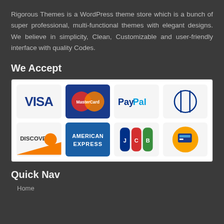Rigorous Themes is a WordPress theme store which is a bunch of super professional, multi-functional themes with elegant designs. We believe in simplicity, Clean, Customizable and user-friendly interface with quality Codes.
We Accept
[Figure (infographic): Payment method logos in a white box: Visa, MasterCard, PayPal, Diners Club (top row); Discover, American Express, JCB, Maestro (bottom row)]
Quick Nav
Home